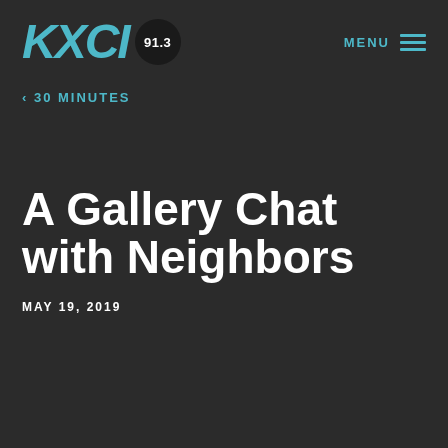KXCI 91.3 — MENU
‹ 30 MINUTES
A Gallery Chat with Neighbors
MAY 19, 2019